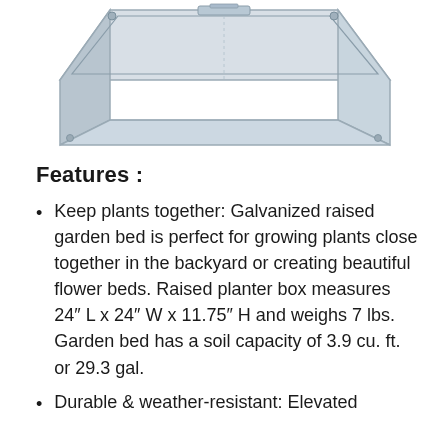[Figure (photo): A galvanized steel raised garden bed planter box viewed from above at an angle, showing the metal construction with bolted corners and a rectangular tray shape.]
Features :
Keep plants together: Galvanized raised garden bed is perfect for growing plants close together in the backyard or creating beautiful flower beds. Raised planter box measures 24″ L x 24″ W x 11.75″ H and weighs 7 lbs. Garden bed has a soil capacity of 3.9 cu. ft. or 29.3 gal.
Durable & weather-resistant: Elevated